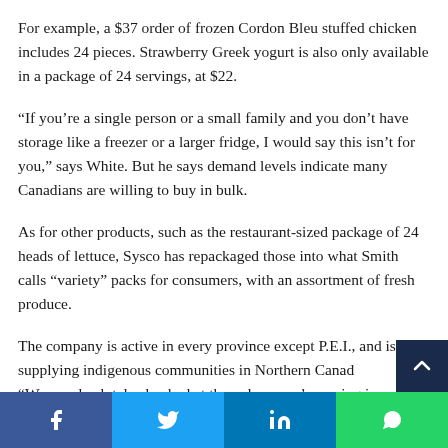For example, a $37 order of frozen Cordon Bleu stuffed chicken includes 24 pieces. Strawberry Greek yogurt is also only available in a package of 24 servings, at $22.
“If you’re a single person or a small family and you don’t have storage like a freezer or a larger fridge, I would say this isn’t for you,” says White. But he says demand levels indicate many Canadians are willing to buy in bulk.
As for other products, such as the restaurant-sized package of 24 heads of lettuce, Sysco has repackaged those into what Smith calls “variety” packs for consumers, with an assortment of fresh produce.
The company is active in every province except P.E.I., and is supplying indigenous communities in Northern Cana… “We are absolutely shocked at the volume we’re seeing in
Facebook  Twitter  LinkedIn  WhatsApp